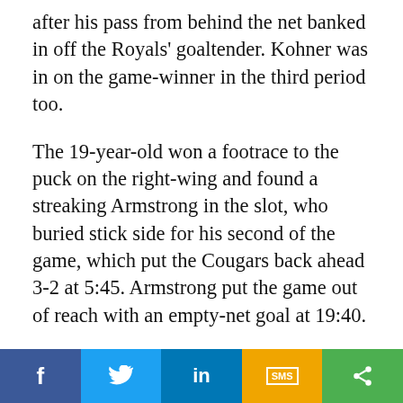after his pass from behind the net banked in off the Royals' goaltender. Kohner was in on the game-winner in the third period too.
The 19-year-old won a footrace to the puck on the right-wing and found a streaking Armstrong in the slot, who buried stick side for his second of the game, which put the Cougars back ahead 3-2 at 5:45. Armstrong put the game out of reach with an empty-net goal at 19:40.
NEXT GAME: The Cougars (2-3-0-0) head
[Figure (infographic): Social sharing bar with five buttons: Facebook (blue), Twitter (light blue), LinkedIn (dark blue), SMS (yellow/orange), Share (green)]